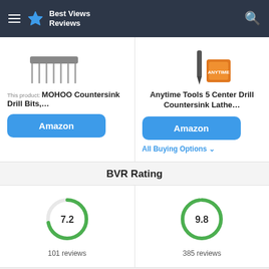Best Views Reviews
This product: MOHOO Countersink Drill Bits,…
[Figure (other): Amazon button for MOHOO Countersink Drill Bits]
Anytime Tools 5 Center Drill Countersink Lathe…
[Figure (other): Amazon button for Anytime Tools 5 Center Drill Countersink Lathe]
All Buying Options ∨
BVR Rating
[Figure (donut-chart): Circular rating gauge showing 7.2 out of 10]
101 reviews
[Figure (donut-chart): Circular rating gauge showing 9.8 out of 10]
385 reviews